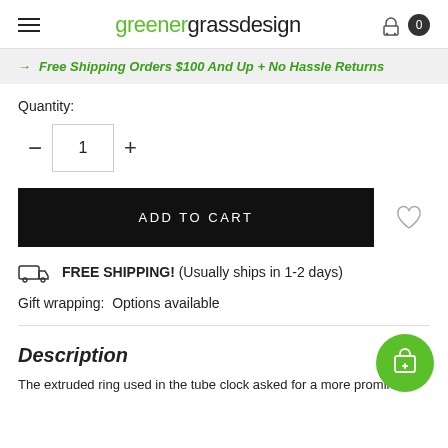greenergrass design
Free Shipping Orders $100 And Up + No Hassle Returns
Quantity:
1
ADD TO CART
FREE SHIPPING! (Usually ships in 1-2 days)
Gift wrapping:  Options available
Description
The extruded ring used in the tube clock asked for a more prominent